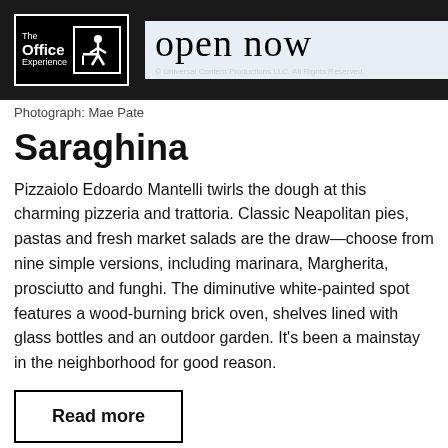[Figure (logo): The Office Experience logo and 'open now' banner with copyright line. Black background with white-bordered logo on left and large serif 'open now' text on blue-tinted background on right.]
Photograph: Mae Pate
Saraghina
Pizzaiolo Edoardo Mantelli twirls the dough at this charming pizzeria and trattoria. Classic Neapolitan pies, pastas and fresh market salads are the draw—choose from nine simple versions, including marinara, Margherita, prosciutto and funghi. The diminutive white-painted spot features a wood-burning brick oven, shelves lined with glass bottles and an outdoor garden. It's been a mainstay in the neighborhood for good reason.
Read more